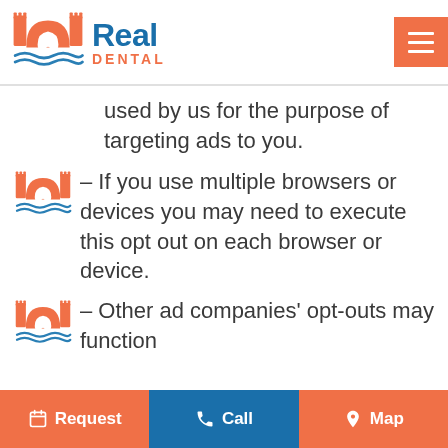[Figure (logo): Real Dental logo with castle/tooth icon in orange and blue text]
used by us for the purpose of targeting ads to you.
– If you use multiple browsers or devices you may need to execute this opt out on each browser or device.
– Other ad companies' opt-outs may function
Request   Call   Map